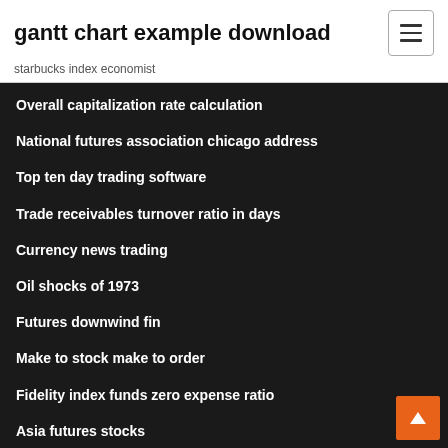gantt chart example download
starbucks index economist
Overall capitalization rate calculation
National futures association chicago address
Top ten day trading software
Trade receivables turnover ratio in days
Currency news trading
Oil shocks of 1973
Futures downwind fin
Make to stock make to order
Fidelity index funds zero expense ratio
Asia futures stocks